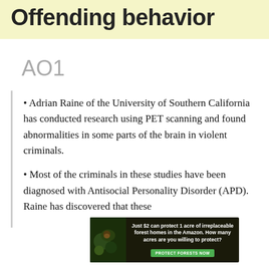Offending behavior
AO1
Adrian Raine of the University of Southern California has conducted research using PET scanning and found abnormalities in some parts of the brain in violent criminals.
Most of the criminals in these studies have been diagnosed with Antisocial Personality Disorder (APD). Raine has discovered that these
[Figure (other): Advertisement banner: 'Just $2 can protect 1 acre of irreplaceable forest homes in the Amazon. How many acres are you willing to protect?' with a green PROTECT FORESTS NOW button and rainforest imagery.]